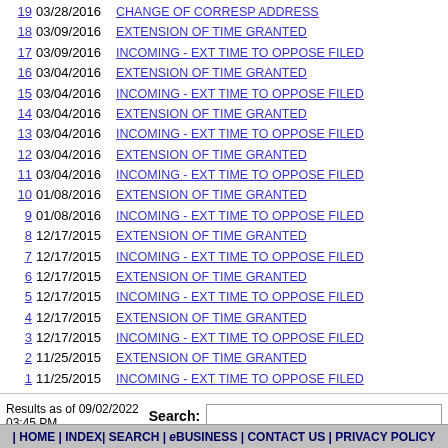| # | Date | Description |
| --- | --- | --- |
| 19 | 03/28/2016 | CHANGE OF CORRESP ADDRESS |
| 18 | 03/09/2016 | EXTENSION OF TIME GRANTED |
| 17 | 03/09/2016 | INCOMING - EXT TIME TO OPPOSE FILED |
| 16 | 03/04/2016 | EXTENSION OF TIME GRANTED |
| 15 | 03/04/2016 | INCOMING - EXT TIME TO OPPOSE FILED |
| 14 | 03/04/2016 | EXTENSION OF TIME GRANTED |
| 13 | 03/04/2016 | INCOMING - EXT TIME TO OPPOSE FILED |
| 12 | 03/04/2016 | EXTENSION OF TIME GRANTED |
| 11 | 03/04/2016 | INCOMING - EXT TIME TO OPPOSE FILED |
| 10 | 01/08/2016 | EXTENSION OF TIME GRANTED |
| 9 | 01/08/2016 | INCOMING - EXT TIME TO OPPOSE FILED |
| 8 | 12/17/2015 | EXTENSION OF TIME GRANTED |
| 7 | 12/17/2015 | INCOMING - EXT TIME TO OPPOSE FILED |
| 6 | 12/17/2015 | EXTENSION OF TIME GRANTED |
| 5 | 12/17/2015 | INCOMING - EXT TIME TO OPPOSE FILED |
| 4 | 12/17/2015 | EXTENSION OF TIME GRANTED |
| 3 | 12/17/2015 | INCOMING - EXT TIME TO OPPOSE FILED |
| 2 | 11/25/2015 | EXTENSION OF TIME GRANTED |
| 1 | 11/25/2015 | INCOMING - EXT TIME TO OPPOSE FILED |
Results as of 09/02/2022 03:45 PM
| HOME | INDEX| SEARCH | eBUSINESS | CONTACT US | PRIVACY POLICY